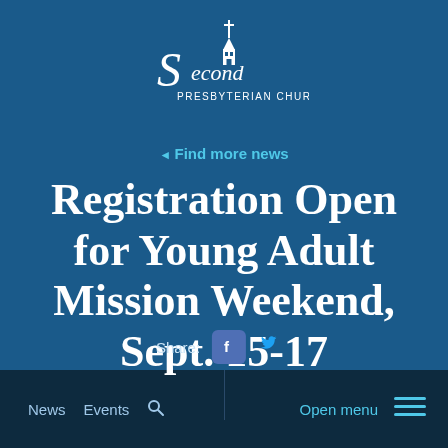[Figure (logo): Second Presbyterian Church logo with church steeple icon and stylized script text 'Second' with 'PRESBYTERIAN CHURCH' below]
Find more news
Registration Open for Young Adult Mission Weekend, Sept. 15-17
Share:
News   Events   [search]   Open menu   [menu icon]